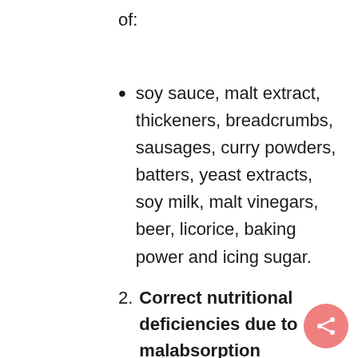of:
soy sauce, malt extract, thickeners, breadcrumbs, sausages, curry powders, batters, yeast extracts, soy milk, malt vinegars, beer, licorice, baking power and icing sugar.
2. Correct nutritional deficiencies due to malabsorption